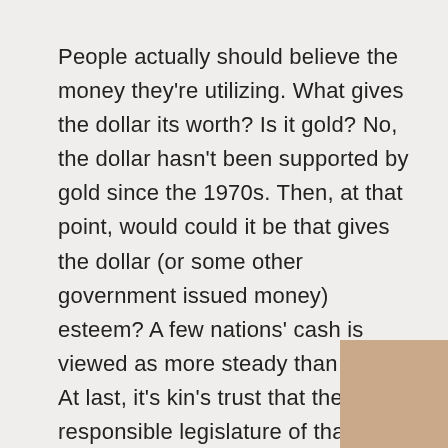People actually should believe the money they're utilizing. What gives the dollar its worth? Is it gold? No, the dollar hasn't been supported by gold since the 1970s. Then, at that point, would could it be that gives the dollar (or some other government issued money) esteem? A few nations' cash is viewed as more steady than others. At last, it's kin's trust that the responsible legislature of that cash stands solidly behind it and basically ensures its "esteem."
How does entrust work with Bitcoin since it's decentralized nft significance their is definitely not an administering body that gives the coins? Bitcoin sits on the blockchain which is fundamentally a web based bookkeeping record that permits the entire world to see every single exchange. Every one of